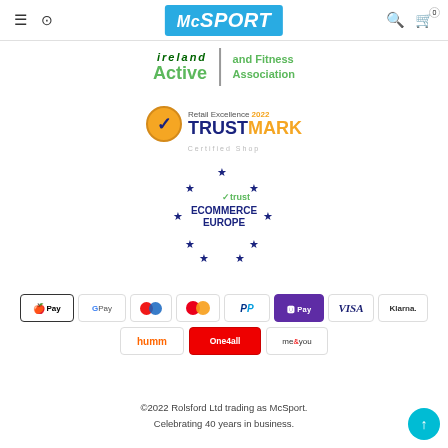McSPORT navigation header with menu, account, logo, search, and cart icons
[Figure (logo): Ireland Active and Fitness Association logo — green text with vertical divider]
[Figure (logo): Retail Excellence 2022 TRUSTMARK Certified Shop badge — gold circle with checkmark]
[Figure (logo): Trust Ecommerce Europe logo — navy stars arranged in a circle with green checkmark]
[Figure (logo): Payment method icons: Apple Pay, Google Pay, Maestro, Mastercard, PayPal, O Pay, VISA, Klarna, humm, One4all, me&you]
©2022 Rolsford Ltd trading as McSport. Celebrating 40 years in business.